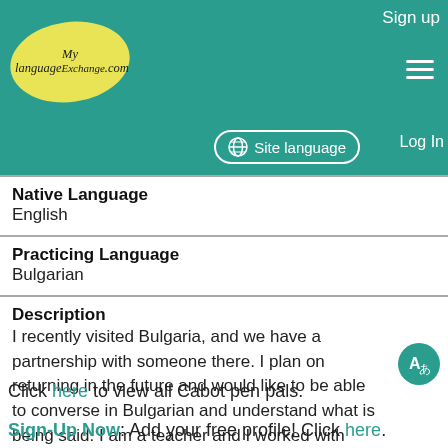MyLanguageExchange.com — Sign up | Site language | Log In
| Field | Value |
| --- | --- |
| Native Language | English |
| Practicing Language | Bulgarian |
| Description | I recently visited Bulgaria, and we have a partnership with someone there. I plan on returning in the future and would like to be able to converse in Bulgarian and understand what is being said. I am a teacher and I worked with children there. I w...... |
Click here to view all Cabot pen pals.
Sign-Up Now: Add your free profile! Click here.